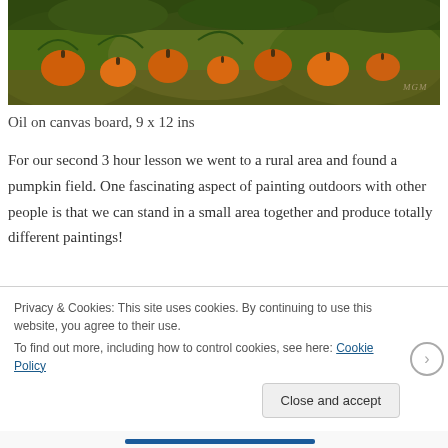[Figure (photo): Oil painting of pumpkins in a field with green foliage, warm orange tones, watermark 'MGM' in lower right corner]
Oil on canvas board, 9 x 12 ins
For our second 3 hour lesson we went to a rural area and found a pumpkin field. One fascinating aspect of painting outdoors with other people is that we can stand in a small area together and produce totally different paintings!
My choice of view and subject was based on the pumpkins leading up to the white barns, which are silhouetted by the dark trees. I also liked including the distant hills. I had a strong sense of representing the feel of what was in front of
Privacy & Cookies: This site uses cookies. By continuing to use this website, you agree to their use.
To find out more, including how to control cookies, see here: Cookie Policy
Close and accept